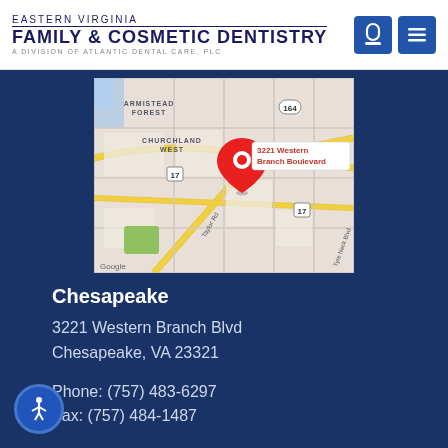EASTERN VIRGINIA FAMILY & COSMETIC DENTISTRY A DIVISION OF ATLANTIC DENTAL CARE, PLC
[Figure (map): Google Maps showing location of 3221 Western Branch Boulevard in Chesapeake, VA, with a red location pin. Area shows Armistead Forest, Churchland West neighborhoods, route 17 and 164.]
Chesapeake
3221 Western Branch Blvd
Chesapeake, VA 23321
Phone: (757) 483-6297
Fax: (757) 484-1487